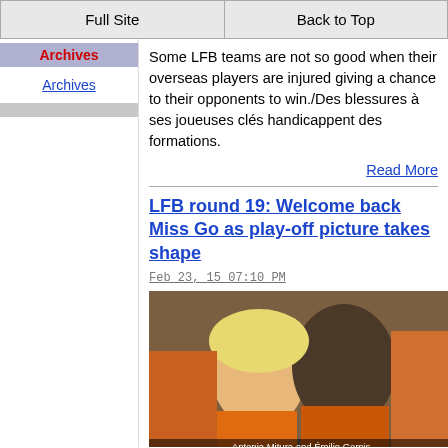Full Site | Back to Top
Archives
Archives
Some LFB teams are not so good when their overseas players are injured giving a chance to their opponents to win./Des blessures à ses joueuses clés handicappent des formations.
Read More
LFB round 19: Welcome back Miss Go as play-off picture takes shape
Feb 23, 15 07:10 PM
[Figure (photo): Photo of Antonia Mitura and Emilie Gomis, basketball players, smiling together in orange uniforms. Watermark: womenbasketball-in-france.]
Émilie Gomis is back in the LFB, this time for Toulouse. Arras are the big losers of round 19./Le retour de Miss Go et la malchanche de Arras